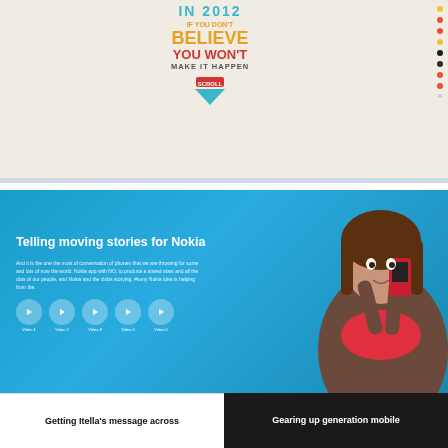[Figure (screenshot): Top section with motivational text 'IN 2012 IF YOU DON'T BELIEVE YOU WON'T MAKE IT HAPPEN' in colorful typography on beige background with a down arrow and colored dots on the right side]
[Figure (photo): Blue background section for Nokia showing 'Telling moving stories for Nokia' with descriptive text, video icons, and a woman taking a photo with a red Nokia phone]
Getting Itella's message across
Gearing up generation mobile